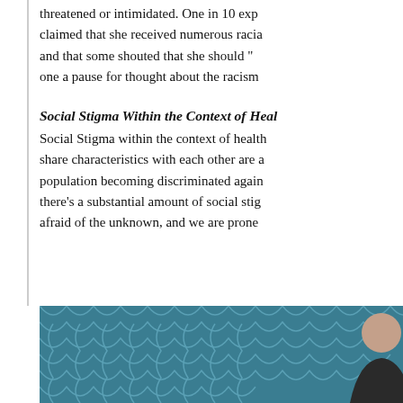threatened or intimidated. One in 10 exp claimed that she received numerous raci and that some shouted that she should " one a pause for thought about the racis
Social Stigma Within the Context of Heal
Social Stigma within the context of health share characteristics with each other are a population becoming discriminated again there’s a substantial amount of social stig afraid of the unknown, and we are prone
[Figure (illustration): Decorative illustration with a teal/blue Moroccan-pattern background and a partial figure on the right side]